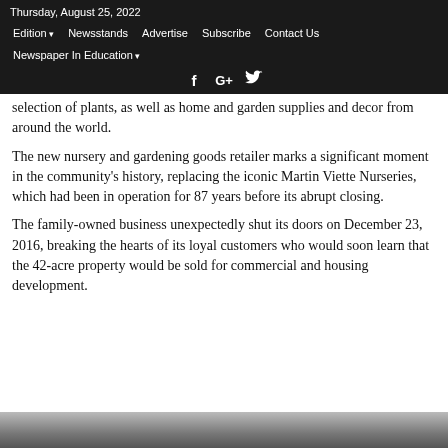Thursday, August 25, 2022
Edition | Newsstands | Advertise | Subscribe | Contact Us | Newspaper In Education
f G+ Twitter social icons
selection of plants, as well as home and garden supplies and decor from around the world.
The new nursery and gardening goods retailer marks a significant moment in the community’s history, replacing the iconic Martin Viette Nurseries, which had been in operation for 87 years before its abrupt closing.
The family-owned business unexpectedly shut its doors on December 23, 2016, breaking the hearts of its loyal customers who would soon learn that the 42-acre property would be sold for commercial and housing development.
[Figure (photo): Bottom strip of a photograph, partially visible at bottom of page]